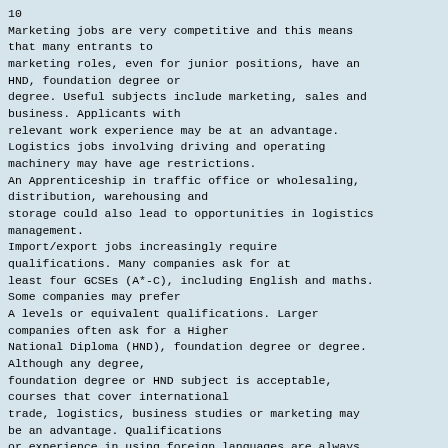10
Marketing jobs are very competitive and this means that many entrants to marketing roles, even for junior positions, have an HND, foundation degree or degree. Useful subjects include marketing, sales and business. Applicants with relevant work experience may be at an advantage. Logistics jobs involving driving and operating machinery may have age restrictions. An Apprenticeship in traffic office or wholesaling, distribution, warehousing and storage could also lead to opportunities in logistics management. Import/export jobs increasingly require qualifications. Many companies ask for at least four GCSEs (A*-C), including English and maths. Some companies may prefer A levels or equivalent qualifications. Larger companies often ask for a Higher National Diploma (HND), foundation degree or degree. Although any degree, foundation degree or HND subject is acceptable, courses that cover international trade, logistics, business studies or marketing may be an advantage. Qualifications or experience in using foreign languages are always in demand. The Diploma in retail business or business, administration and finance could be a useful starting point. For warehouse jobs a fork lift licence - for those aged 16 or over - can be helpful in